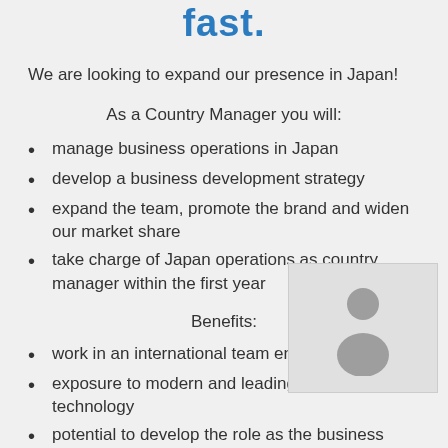fast.
We are looking to expand our presence in Japan!
As a Country Manager you will:
manage business operations in Japan
develop a business development strategy
expand the team, promote the brand and widen our market share
take charge of Japan operations as country manager within the first year
Benefits:
work in an international team environment
exposure to modern and leading-edge technology
potential to develop the role as the business
[Figure (illustration): Avatar/person silhouette icon in a light grey box]